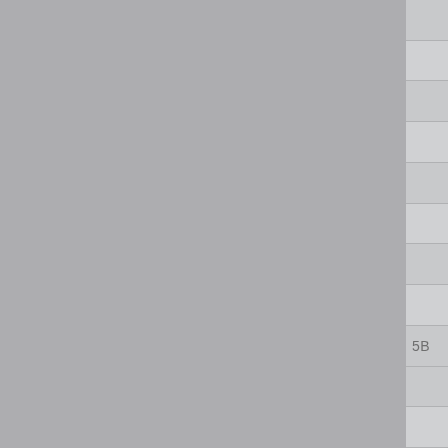[Figure (other): Gray background page with a right-side panel divided into horizontal rows by thin lines. One row near the bottom contains the label '5B'. The layout resembles a tab or index divider page.]
5B